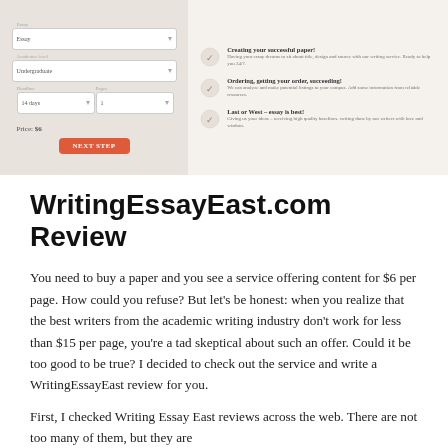[Figure (screenshot): Screenshot of WritingEssayEast.com website showing an order form on the left with fields for essay type, academic level, deadline, pages, and a price of $6 with a red NEXT STEP button. On the right are three steps: 'Creating your successful paper!', 'Ordering, getting your order, succeeding!', and 'Last or West – essay is best!']
WritingEssayEast.com Review
You need to buy a paper and you see a service offering content for $6 per page. How could you refuse? But let's be honest: when you realize that the best writers from the academic writing industry don't work for less than $15 per page, you're a tad skeptical about such an offer. Could it be too good to be true? I decided to check out the service and write a WritingEssayEast review for you.
First, I checked Writing Essay East reviews across the web. There are not too many of them, but they are